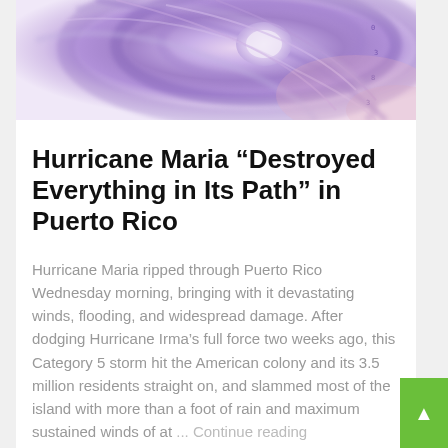[Figure (photo): Satellite image of Hurricane Maria showing spiral cloud formation with purple and pink tones]
Hurricane Maria “Destroyed Everything in Its Path” in Puerto Rico
Hurricane Maria ripped through Puerto Rico Wednesday morning, bringing with it devastating winds, flooding, and widespread damage. After dodging Hurricane Irma’s full force two weeks ago, this Category 5 storm hit the American colony and its 3.5 million residents straight on, and slammed most of the island with more than a foot of rain and maximum sustained winds of at ... Continue reading
Mother Jones